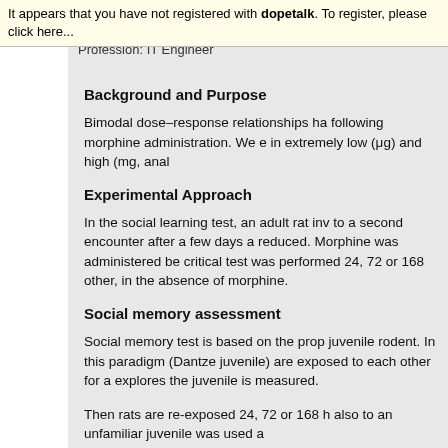It appears that you have not registered with dopetalk. To register, please click here...
Profession: IT Engineer
Background and Purpose
Bimodal dose–response relationships ha following morphine administration. We e in extremely low (μg) and high (mg, anal
Experimental Approach
In the social learning test, an adult rat inv to a second encounter after a few days a reduced. Morphine was administered be critical test was performed 24, 72 or 168 other, in the absence of morphine.
Social memory assessment
Social memory test is based on the prop juvenile rodent. In this paradigm (Dantze juvenile) are exposed to each other for a explores the juvenile is measured.
Then rats are re-exposed 24, 72 or 168 h also to an unfamiliar juvenile was used a